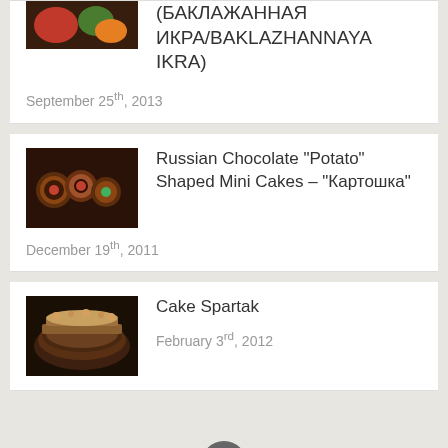(БАКЛАЖАННАЯ ИКРА/BAKLAZHANNAYA IKRA)
September 25th, 2013
Russian Chocolate “Potato” Shaped Mini Cakes – “Картошка”
December 19th, 2011
Cake Spartak
February 3rd, 2012
[Figure (illustration): Back to top button, dark grey circle with upward chevron]